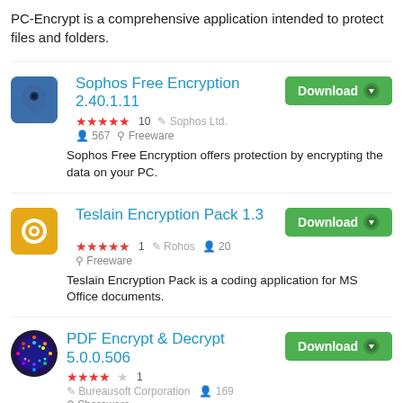PC-Encrypt is a comprehensive application intended to protect files and folders.
Sophos Free Encryption 2.40.1.11
★★★★★ 10  🔧 Sophos Ltd.  👤 567  🔖 Freeware
Sophos Free Encryption offers protection by encrypting the data on your PC.
Teslain Encryption Pack 1.3
★★★★★ 1  🔧 Rohos  👤 20  🔖 Freeware
Teslain Encryption Pack is a coding application for MS Office documents.
PDF Encrypt & Decrypt 5.0.0.506
★★★★☆ 1  🔧 Bureausoft Corporation  👤 169  🔖 Shareware
A light-weight,Windows tool to enhance PDF file security by means of encryption.